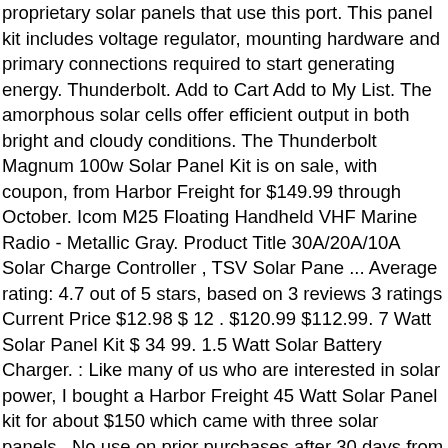proprietary solar panels that use this port. This panel kit includes voltage regulator, mounting hardware and primary connections required to start generating energy. Thunderbolt. Add to Cart Add to My List. The amorphous solar cells offer efficient output in both bright and cloudy conditions. The Thunderbolt Magnum 100w Solar Panel Kit is on sale, with coupon, from Harbor Freight for $149.99 through October. Icom M25 Floating Handheld VHF Marine Radio - Metallic Gray. Product Title 30A/20A/10A Solar Charge Controller , TSV Solar Pane ... Average rating: 4.7 out of 5 stars, based on 3 reviews 3 ratings Current Price $12.98 $ 12 . $120.99 $112.99. 7 Watt Solar Panel Kit $ 34 99. 1.5 Watt Solar Battery Charger. : Like many of us who are interested in solar power, I bought a Harbor Freight 45 Watt Solar Panel kit for about $150 which came with three solar panels.. No use on prior purchases after 30 days from original purchase or without original receipt. You won't have to worry about your electric bills anymore. Product Length 39 in. Most solar panels nowadays come with MC4 connectors, so what we need is an adapter that will turn these MC4 connectors into the 2 pin connector